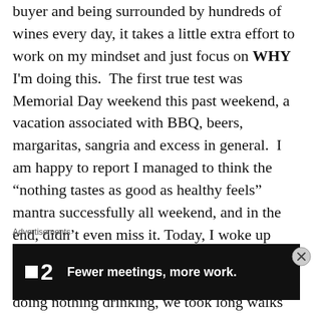buyer and being surrounded by hundreds of wines every day, it takes a little extra effort to work on my mindset and just focus on WHY I'm doing this. The first true test was Memorial Day weekend this past weekend, a vacation associated with BBQ, beers, margaritas, sangria and excess in general. I am happy to report I managed to think the “nothing tastes as good as healthy feels” mantra successfully all weekend, and in the end, didn’t even miss it. Today, I woke up clear-headed and positive – well worth it, as always, in the end. Instead of sitting around doing nothing drinking, we took long walks down by the river and discovered a new trail (the Hudson Valley in New York is...
Advertisements
[Figure (other): Advertisement banner with dark background showing a small logo square icon and the number 2, with bold white text: Fewer meetings, more work.]